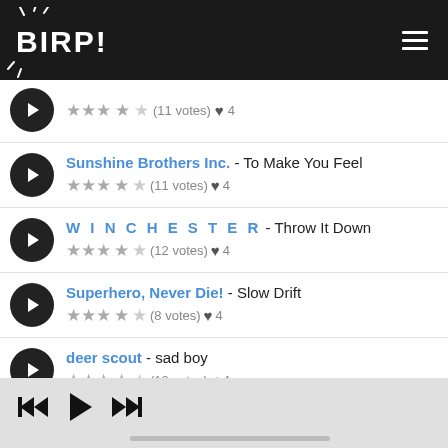BIRP!
(11 votes) 4 — partial first track
Sunshine Brothers Inc. - To Make You Feel, 3.5 stars, (11 votes), 4
W I N C H E S T E R - Throw It Down, 3.5 stars, (12 votes), 4
Superhero, Never Die! - Slow Drift, 3.5 stars, (8 votes), 4
deer scout - sad boy, 3.5 stars, (12 votes), 4
Sobs - Girl (partial)
Player controls bar